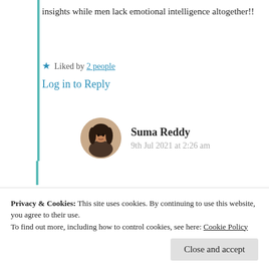insights while men lack emotional intelligence altogether!!
★ Liked by 2 people
Log in to Reply
Suma Reddy
9th Jul 2021 at 2:26 am
Privacy & Cookies: This site uses cookies. By continuing to use this website, you agree to their use.
To find out more, including how to control cookies, see here: Cookie Policy
Close and accept